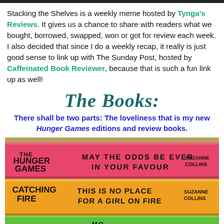Stacking the Shelves is a weekly meme hosted by Tynga's Reviews. It gives us a chance to share with readers what we bought, borrowed, swapped, won or got for review each week. I also decided that since I do a weekly recap, it really is just good sense to link up with The Sunday Post, hosted by Caffeinated Book Reviewer, because that is such a fun link up as well!
The Books:
There shall be two parts: The loveliness that is my new Hunger Games editions and review books.
[Figure (photo): Stacked colorful books: pink Hunger Games book with text 'MAY THE ODDS BE EVER IN YOUR FAVOUR' by Suzanne Collins, orange Catching Fire book with text 'THIS IS NO PLACE FOR A GIRL ON FIRE' by Suzanne Collins, and partially visible green book below.]